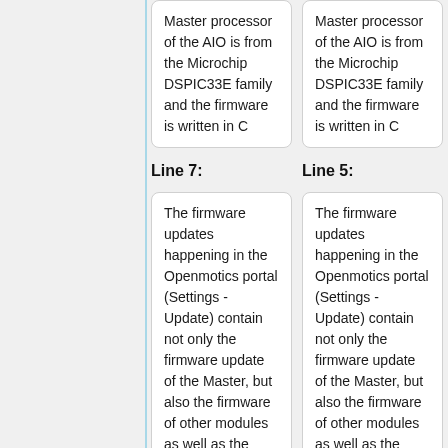Master processor of the AIO is from the Microchip DSPIC33E family and the firmware is written in C
Master processor of the AIO is from the Microchip DSPIC33E family and the firmware is written in C
Line 7:
Line 5:
The firmware updates happening in the Openmotics portal (Settings - Update) contain not only the firmware update of the Master, but also the firmware of other modules as well as the updates for the Beagle Bone
The firmware updates happening in the Openmotics portal (Settings - Update) contain not only the firmware update of the Master, but also the firmware of other modules as well as the updates for the Beagle Bone